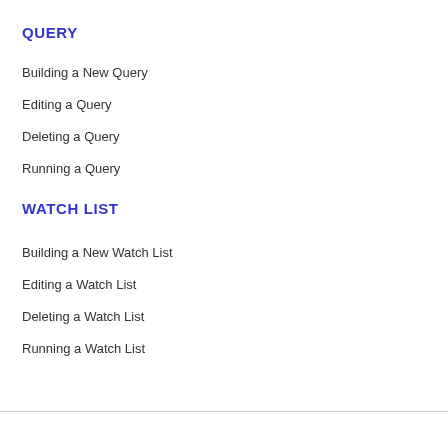QUERY
Building a New Query
Editing a Query
Deleting a Query
Running a Query
WATCH LIST
Building a New Watch List
Editing a Watch List
Deleting a Watch List
Running a Watch List